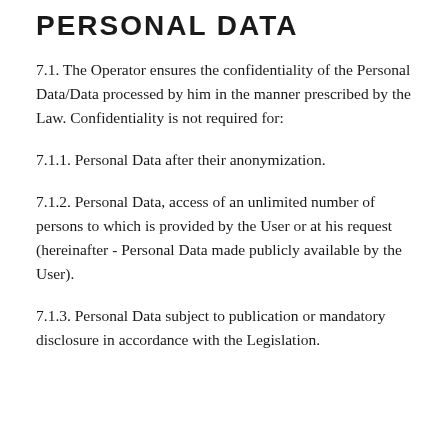PERSONAL DATA
7.1. The Operator ensures the confidentiality of the Personal Data/Data processed by him in the manner prescribed by the Law. Confidentiality is not required for:
7.1.1. Personal Data after their anonymization.
7.1.2. Personal Data, access of an unlimited number of persons to which is provided by the User or at his request (hereinafter - Personal Data made publicly available by the User).
7.1.3. Personal Data subject to publication or mandatory disclosure in accordance with the Legislation.